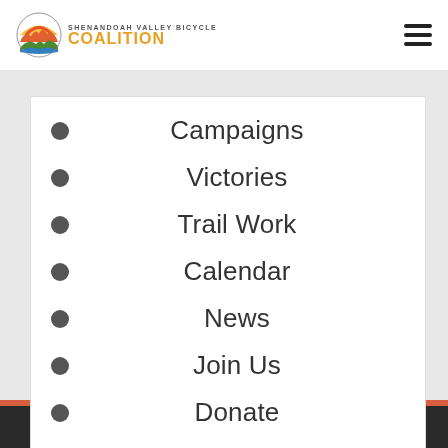[Figure (logo): Shenandoah Valley Bicycle Coalition logo with circular mountain/sun graphic and yellow COALITION text]
Campaigns
Victories
Trail Work
Calendar
News
Join Us
Donate